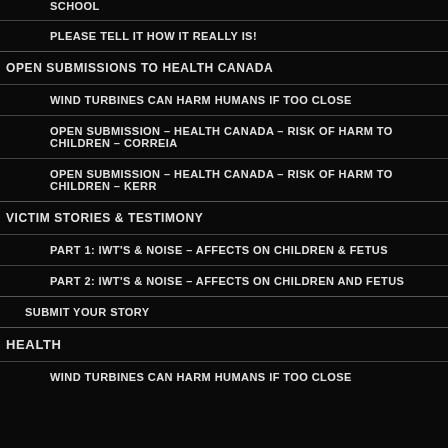SCHOOL
PLEASE TELL IT HOW IT REALLY IS!
OPEN SUBMISSIONS TO HEALTH CANADA
WIND TURBINES CAN HARM HUMANS IF TOO CLOSE
OPEN SUBMISSION – HEALTH CANADA – RISK OF HARM TO CHILDREN – CORREIA
OPEN SUBMISSION – HEALTH CANADA – RISK OF HARM TO CHILDREN – KERR
VICTIM STORIES & TESTIMONY
PART 1: IWT'S & NOISE – AFFECTS ON CHILDREN & FETUS
PART 2: IWT'S & NOISE – AFFECTS ON CHILDREN AND FETUS
SUBMIT YOUR STORY
HEALTH
WIND TURBINES CAN HARM HUMANS IF TOO CLOSE